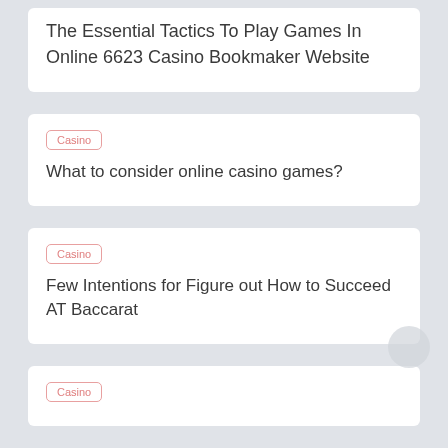The Essential Tactics To Play Games In Online 6623 Casino Bookmaker Website
Casino
What to consider online casino games?
Casino
Few Intentions for Figure out How to Succeed AT Baccarat
Casino